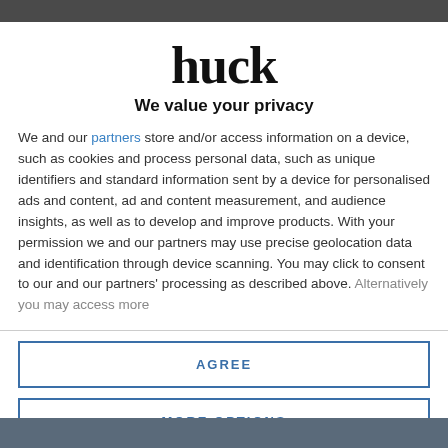[Figure (logo): Huck magazine logo in large bold serif text]
We value your privacy
We and our partners store and/or access information on a device, such as cookies and process personal data, such as unique identifiers and standard information sent by a device for personalised ads and content, ad and content measurement, and audience insights, as well as to develop and improve products. With your permission we and our partners may use precise geolocation data and identification through device scanning. You may click to consent to our and our partners' processing as described above. Alternatively you may access more
AGREE
MORE OPTIONS